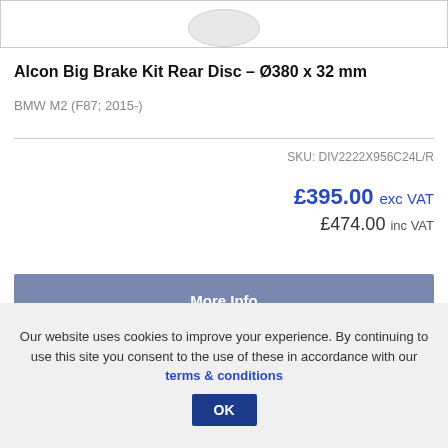[Figure (photo): Partial view of a brake disc product image at top of page]
Alcon Big Brake Kit Rear Disc – Ø380 x 32 mm
BMW M2 (F87; 2015-)
SKU: DIV2222X956C24L/R
£395.00 exc VAT
£474.00 inc VAT
More Info
Add to basket
Our website uses cookies to improve your experience. By continuing to use this site you consent to the use of these in accordance with our terms & conditions OK